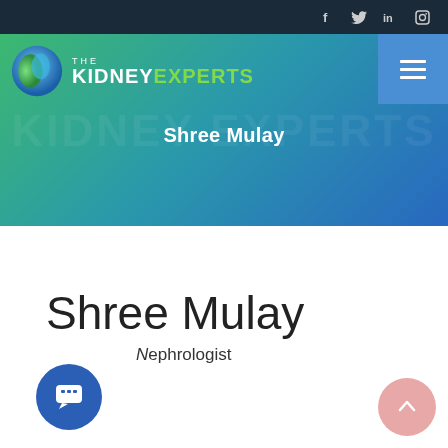Social media icons: Facebook, Twitter, LinkedIn, Instagram
[Figure (logo): The Kidney Experts logo with globe icon and text]
Shree Mulay
Shree Mulay
Nephrologist